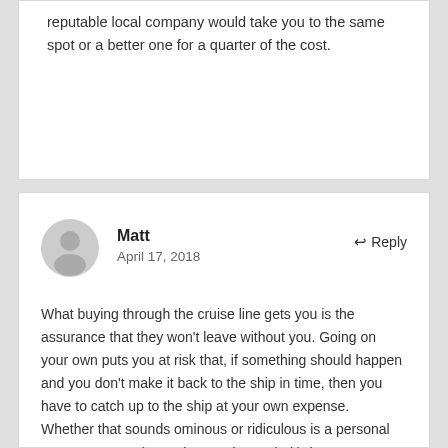reputable local company would take you to the same spot or a better one for a quarter of the cost.
Matt
April 17, 2018
What buying through the cruise line gets you is the assurance that they won't leave without you. Going on your own puts you at risk that, if something should happen and you don't make it back to the ship in time, then you have to catch up to the ship at your own expense.
Whether that sounds ominous or ridiculous is a personal matter. For me, (11 cruises under my belt) there are two keys: knowing the area you are in, either as a repeat visitor or through enough